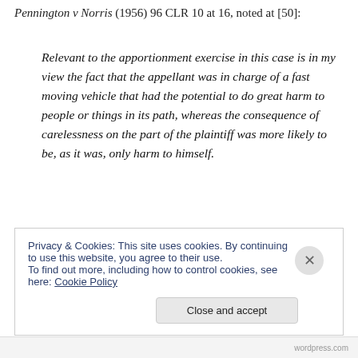Pennington v Norris (1956) 96 CLR 10 at 16, noted at [50]:
Relevant to the apportionment exercise in this case is in my view the fact that the appellant was in charge of a fast moving vehicle that had the potential to do great harm to people or things in its path, whereas the consequence of carelessness on the part of the plaintiff was more likely to be, as it was, only harm to himself.
Privacy & Cookies: This site uses cookies. By continuing to use this website, you agree to their use.
To find out more, including how to control cookies, see here: Cookie Policy